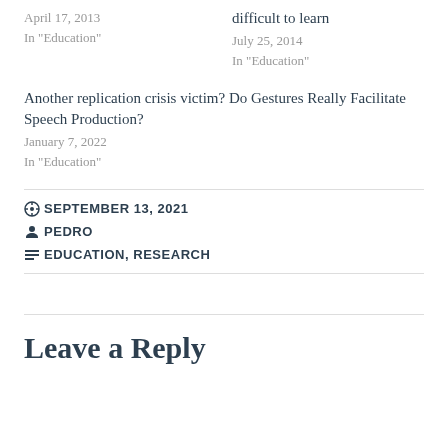April 17, 2013
In "Education"
difficult to learn
July 25, 2014
In "Education"
Another replication crisis victim? Do Gestures Really Facilitate Speech Production?
January 7, 2022
In "Education"
SEPTEMBER 13, 2021
PEDRO
EDUCATION, RESEARCH
Leave a Reply